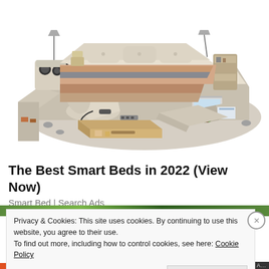[Figure (photo): Product photo of a luxury multi-functional smart bed with beige/cream upholstery, featuring built-in speakers, storage drawers, massage chair attachment, reading lamps, shelving, and a laptop stand. The bed is shown from an elevated angle with all features extended and visible.]
The Best Smart Beds in 2022 (View Now)
Smart Bed | Search Ads
Privacy & Cookies: This site uses cookies. By continuing to use this website, you agree to their use.
To find out more, including how to control cookies, see here: Cookie Policy
Close and accept